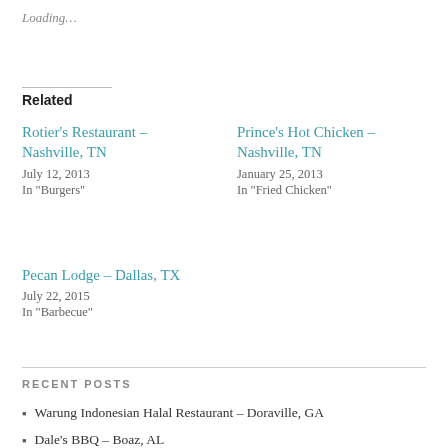Loading…
Related
Rotier's Restaurant – Nashville, TN
July 12, 2013
In "Burgers"
Prince's Hot Chicken – Nashville, TN
January 25, 2013
In "Fried Chicken"
Pecan Lodge – Dallas, TX
July 22, 2015
In "Barbecue"
RECENT POSTS
Warung Indonesian Halal Restaurant – Doraville, GA
Dale's BBQ – Boaz, AL
The Slutty Vegan – Duluth, GA